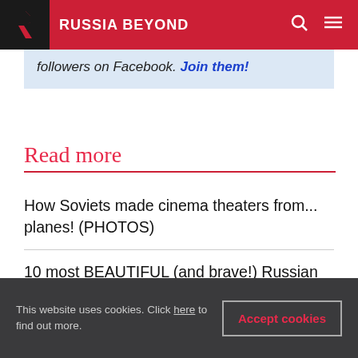RUSSIA BEYOND
followers on Facebook. Join them!
Read more
How Soviets made cinema theaters from... planes! (PHOTOS)
10 most BEAUTIFUL (and brave!) Russian female emergency rescuers (PHOTOS)
Brave and beautiful Russian policewomen (PHOTOS)
This website uses cookies. Click here to find out more. Accept cookies